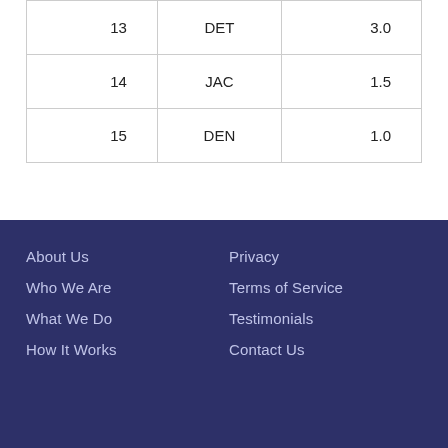| 13 | DET | 3.0 |
| 14 | JAC | 1.5 |
| 15 | DEN | 1.0 |
About Us
Who We Are
What We Do
How It Works
Privacy
Terms of Service
Testimonials
Contact Us